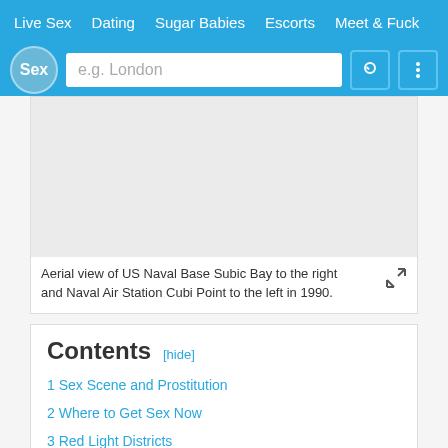Live Sex  Dating  Sugar Babies  Escorts  Meet & Fuck
[Figure (screenshot): Search bar UI with logo circle showing 'Sex', text input placeholder 'e.g. London', and two icon buttons]
[Figure (photo): Aerial view image placeholder (gray rectangle)]
Aerial view of US Naval Base Subic Bay to the right and Naval Air Station Cubi Point to the left in 1990.
Contents [hide]
1 Sex Scene and Prostitution
2 Where to Get Sex Now
3 Red Light Districts
4 Prostitutes and Sex Workers
4.1 Getting Laid in Philippines
4.2 Tipping Guide